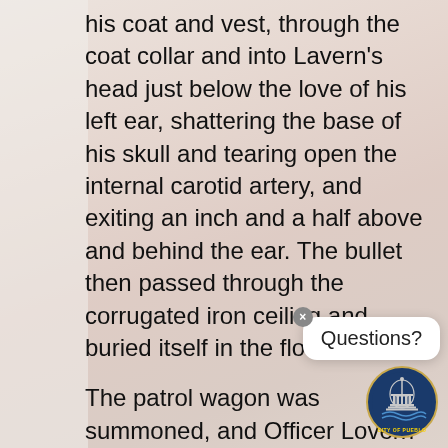his coat and vest, through the coat collar and into Lavern's head just below the love of his left ear, shattering the base of his skull and tearing open the internal carotid artery, and exiting an inch and a half above and behind the ear. The bullet then passed through the corrugated iron ceiling and buried itself in the floor above.
The patrol wagon was summoned, and Officer Lovern was taken to Dr. McDonald's office. Pressure was kept on the ear to control the bleeding and it was de[termined] that the injury was fatal. The right [side of] his body was paralyzed, and except for a brief moment just after the injury, he w[as] unconscious the entire time. His family wa[s]
[Figure (photo): Background photograph showing a person, partially visible, providing context to the document page. Faint flesh/pink tones visible behind text.]